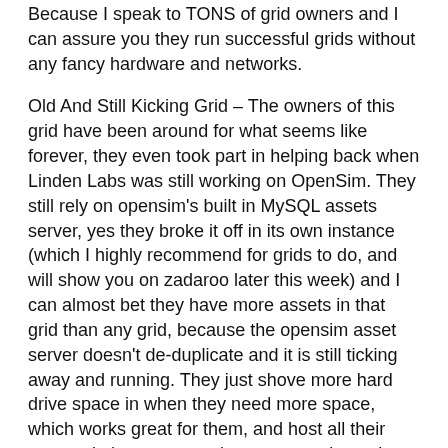Because I speak to TONS of grid owners and I can assure you they run successful grids without any fancy hardware and networks.
Old And Still Kicking Grid – The owners of this grid have been around for what seems like forever, they even took part in helping back when Linden Labs was still working on OpenSim. They still rely on opensim's built in MySQL assets server, yes they broke it off in its own instance (which I highly recommend for grids to do, and will show you on zadaroo later this week) and I can almost bet they have more assets in that grid than any grid, because the opensim asset server doesn't de-duplicate and it is still ticking away and running. They just shove more hard drive space in when they need more space, which works great for them, and host all their servers in house same data center to keep the need to server assets across the web un-needed for the most part by turning on built in region asset caching to take load off the asset server.
Grid From Home – There is a very big and popular grid that has been gaining a lot of attention lately. In fact I am not positive they still run from home, but they might, and they use base opensim